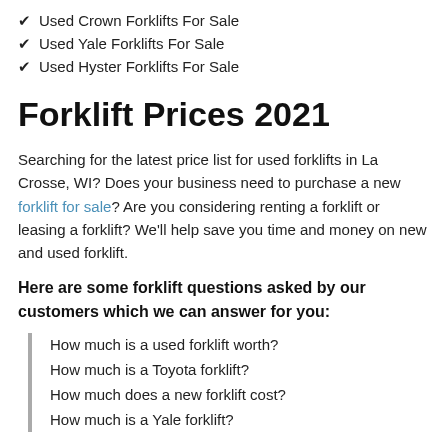Used Crown Forklifts For Sale
Used Yale Forklifts For Sale
Used Hyster Forklifts For Sale
Forklift Prices 2021
Searching for the latest price list for used forklifts in La Crosse, WI? Does your business need to purchase a new forklift for sale? Are you considering renting a forklift or leasing a forklift? We'll help save you time and money on new and used forklift.
Here are some forklift questions asked by our customers which we can answer for you:
How much is a used forklift worth?
How much is a Toyota forklift?
How much does a new forklift cost?
How much is a Yale forklift?